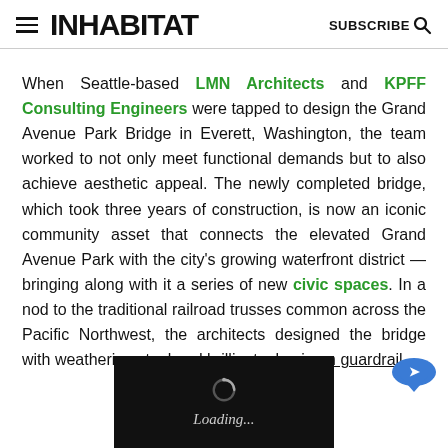INHABITAT | SUBSCRIBE
When Seattle-based LMN Architects and KPFF Consulting Engineers were tapped to design the Grand Avenue Park Bridge in Everett, Washington, the team worked to not only meet functional demands but to also achieve aesthetic appeal. The newly completed bridge, which took three years of construction, is now an iconic community asset that connects the elevated Grand Avenue Park with the city's growing waterfront district — bringing along with it a series of new civic spaces. In a nod to the traditional railroad trusses common across the Pacific Northwest, the architects designed the bridge with weathering steel and brilliant, aluminum guardrail
[Figure (screenshot): Loading spinner overlay with dark background showing a circular loading animation and 'Loading...' text]